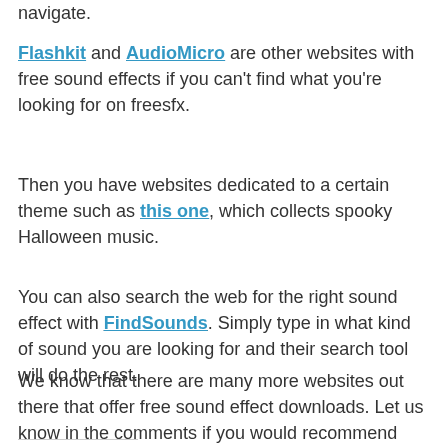navigate.
Flashkit and AudioMicro are other websites with free sound effects if you can't find what you're looking for on freesfx.
Then you have websites dedicated to a certain theme such as this one, which collects spooky Halloween music.
You can also search the web for the right sound effect with FindSounds. Simply type in what kind of sound you are looking for and their search tool will do the rest.
We know that there are many more websites out there that offer free sound effect downloads. Let us know in the comments if you would recommend any others!